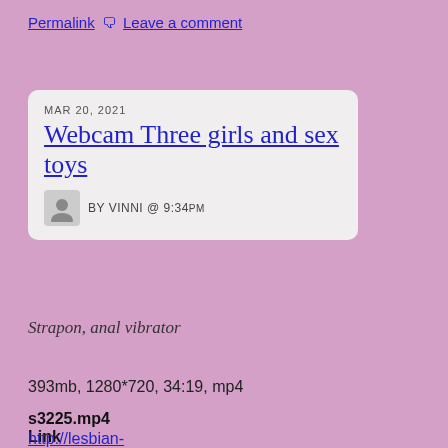Permalink  🗨  Leave a comment
MAR 20, 2021
Webcam Three girls and sex toys
BY VINNI @ 9:34PM
Strapon, anal vibrator
393mb, 1280*720, 34:19, mp4
s3225.mp4
Link
http://lesbian-
...